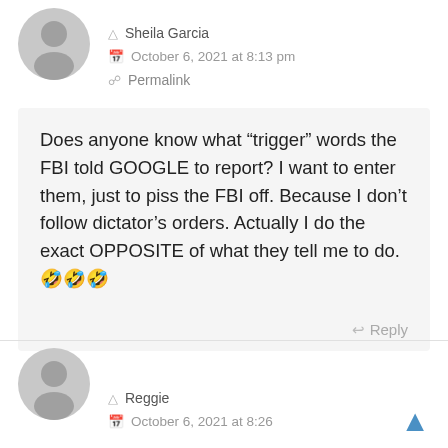[Figure (illustration): Generic gray user avatar circle for Sheila Garcia]
Sheila Garcia
October 6, 2021 at 8:13 pm
Permalink
Does anyone know what “trigger” words the FBI told GOOGLE to report? I want to enter them, just to piss the FBI off. Because I don’t follow dictator’s orders. Actually I do the exact OPPOSITE of what they tell me to do.🤣🤣🤣
Reply
[Figure (illustration): Generic gray user avatar circle for Reggie]
Reggie
October 6, 2021 at 8:26